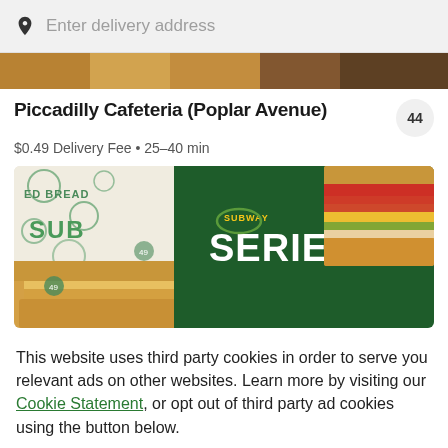Enter delivery address
[Figure (photo): Partial food images strip at top of page]
Piccadilly Cafeteria (Poplar Avenue)
44
$0.49 Delivery Fee • 25-40 min
[Figure (photo): Subway Series promotional banner showing sandwiches and wrapped sub with green background]
This website uses third party cookies in order to serve you relevant ads on other websites. Learn more by visiting our Cookie Statement, or opt out of third party ad cookies using the button below.
OPT OUT
GOT IT